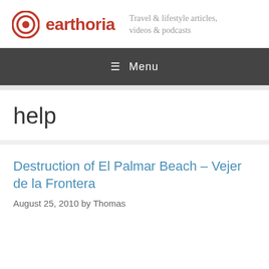[Figure (logo): Earthoria logo with circular target/signal icon in dark red/orange and the text 'earthoria' in red bold font]
Travel & lifestyle articles, videos & podcasts
≡ Menu
help
Destruction of El Palmar Beach – Vejer de la Frontera
August 25, 2010 by Thomas